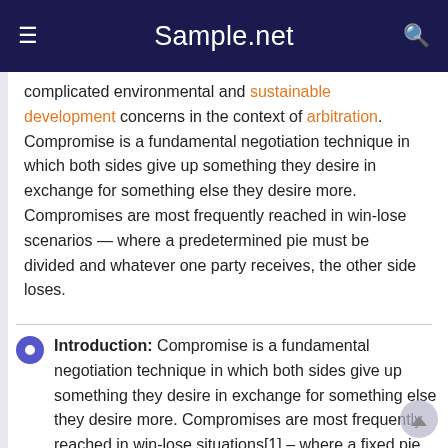Sample.net
complicated environmental and sustainable development concerns in the context of arbitration. Compromise is a fundamental negotiation technique in which both sides give up something they desire in exchange for something else they desire more. Compromises are most frequently reached in win-lose scenarios — where a predetermined pie must be divided and whatever one party receives, the other side loses.
Introduction: Compromise is a fundamental negotiation technique in which both sides give up something they desire in exchange for something else they desire more. Compromises are most frequently reached in win-lose situations[1] – where a fixed pie must be divided and whatever one party receives, the other side loses. In a compromise situation, neither